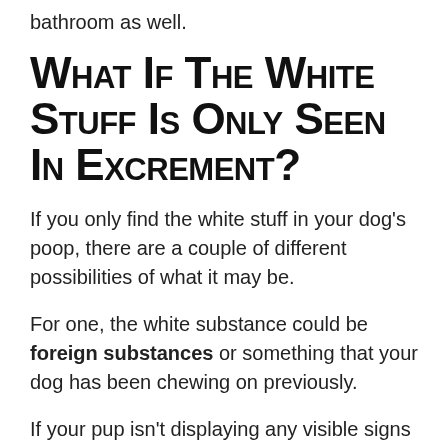bathroom as well.
What If The White Stuff is Only Seen In Excrement?
If you only find the white stuff in your dog's poop, there are a couple of different possibilities of what it may be.
For one, the white substance could be foreign substances or something that your dog has been chewing on previously.
If your pup isn't displaying any visible signs of discomfort, you may want to look